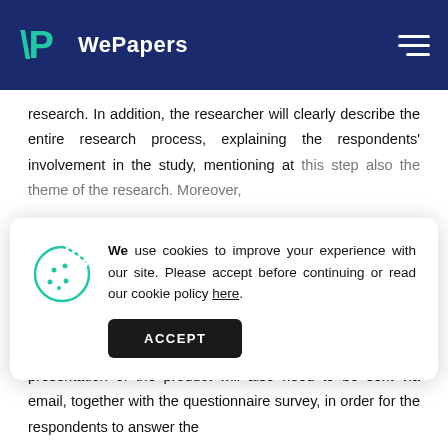WePapers
research. In addition, the researcher will clearly describe the entire research process, explaining the respondents' involvement in the study, mentioning at this step also the theme of the research. Moreover,
We use cookies to improve your experience with our site. Please accept before continuing or read our cookie policy here.
researcher will describe them the fictive product's features. A presentation of the product will also need to be sent via email, together with the questionnaire survey, in order for the respondents to answer the